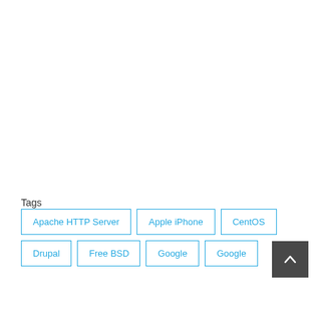Tags
Apache HTTP Server
Apple iPhone
CentOS
Drupal
Free BSD
Google
Google